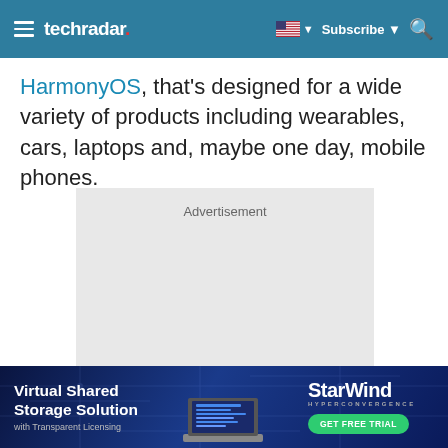techradar | Subscribe
HarmonyOS, that's designed for a wide variety of products including wearables, cars, laptops and, maybe one day, mobile phones.
[Figure (other): Advertisement placeholder box with grey background and 'Advertisement' label text]
[Figure (other): StarWind Hyperconvergence banner ad: Virtual Shared Storage Solution with Transparent Licensing, GET FREE TRIAL button, laptop graphic on dark blue circuit board background]